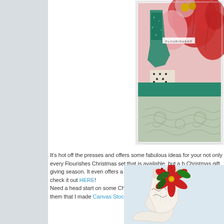[Figure (photo): Christmas greeting card with red poinsettia flowers, teal/green stocking with glitter, bells, and decorative elements. Text 'FLOURISHES' visible on card. Bottom portion shows sage green embossed swirl pattern.]
It's hot off the presses and offers some fabulous ideas for your not only every Flourishes Christmas set that is available, but a b Christmas gift giving season. It even offers a sneak peek at som must have! You can check it out HERE! Need a head start on some Christmas gift ideas? There are 6 d one of them that I made Canvas Stocking. The full tutorial on ho
[Figure (photo): White canvas stocking with red poinsettia flower decoration, green leaves, and black stamped design elements.]